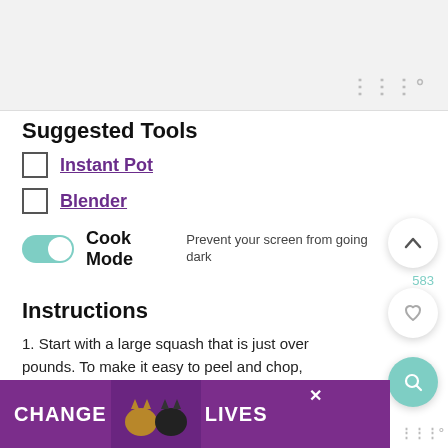[Figure (screenshot): Top gray banner area with WW logo watermark at bottom right]
Suggested Tools
Instant Pot
Blender
Cook Mode  Prevent your screen from going dark
Instructions
1. Start with a large squash that is just over pounds. To make it easy to peel and chop, precook it in the Instant Pot or pressure cooker: Place a trivet in the bottom of the
[Figure (photo): Bottom advertisement banner: purple background with cats and text CHANGE LIVES, with close button and WW logo]